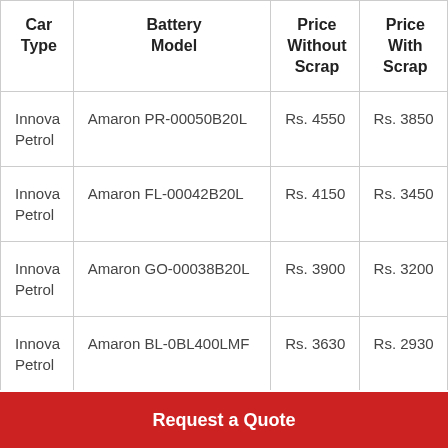| Car Type | Battery Model | Price Without Scrap | Price With Scrap |
| --- | --- | --- | --- |
| Innova Petrol | Amaron PR-00050B20L | Rs. 4550 | Rs. 3850 |
| Innova Petrol | Amaron FL-00042B20L | Rs. 4150 | Rs. 3450 |
| Innova Petrol | Amaron GO-00038B20L | Rs. 3900 | Rs. 3200 |
| Innova Petrol | Amaron BL-0BL400LMF | Rs. 3630 | Rs. 2930 |
| Innova Petrol | Amaron FR-0FR400LMF | Rs. 3450 | Rs. 2750 |
Request a Quote